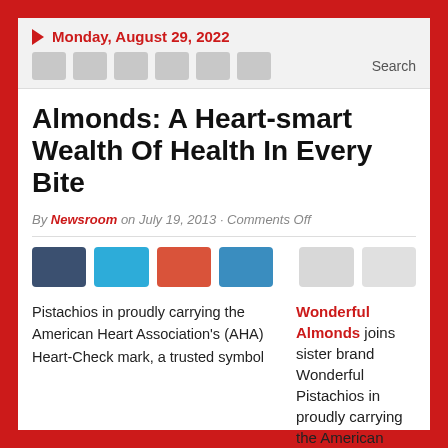Monday, August 29, 2022
Almonds: A Heart-smart Wealth Of Health In Every Bite
By Newsroom on July 19, 2013 · Comments Off
[Figure (other): Social sharing buttons row: dark blue, light blue, red-orange, mid blue, light gray, light gray]
Wonderful Almonds joins sister brand Wonderful Pistachios in proudly carrying the American Heart Association's (AHA) Heart-Check mark, a trusted symbol